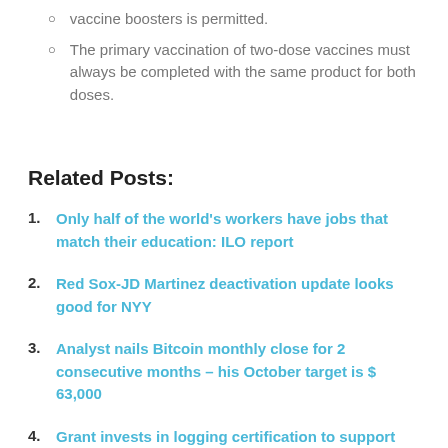The primary vaccination of two-dose vaccines must always be completed with the same product for both doses.
Related Posts:
Only half of the world's workers have jobs that match their education: ILO report
Red Sox-JD Martinez deactivation update looks good for NYY
Analyst nails Bitcoin monthly close for 2 consecutive months – his October target is $ 63,000
Grant invests in logging certification to support